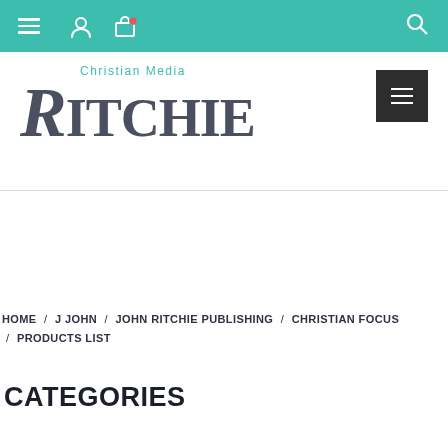Navigation bar with hamburger menu, user icon, shopping bag icon, and search icon
[Figure (logo): Ritchie Christian Media logo with teal 'Christian Media' text above large serif 'RITCHIE' text in dark gray]
[Figure (other): Dark square menu button with three horizontal white lines]
HOME / J JOHN / JOHN RITCHIE PUBLISHING / CHRISTIAN FOCUS / PRODUCTS LIST
CATEGORIES